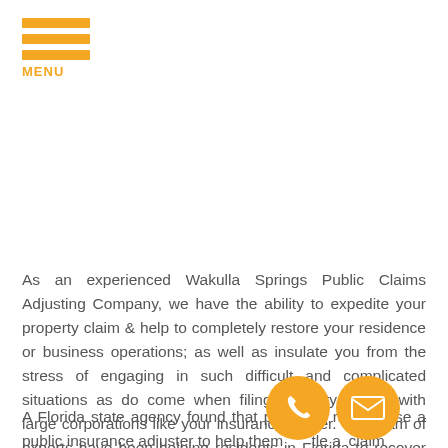MENU
As an experienced Wakulla Springs Public Claims Adjusting Company, we have the ability to expedite your property claim & help to completely restore your residence or business operations; as well as insulate you from the stress of engaging in such difficult and complicated situations as do come when filing property claims with large corporations like your insurance carrier. Our team of experts have been helping residents in Florida to recover money that they could not obtain on their own.
A Florida state agency found that policyholders who use a public insurance adjuster to help them settle a claim